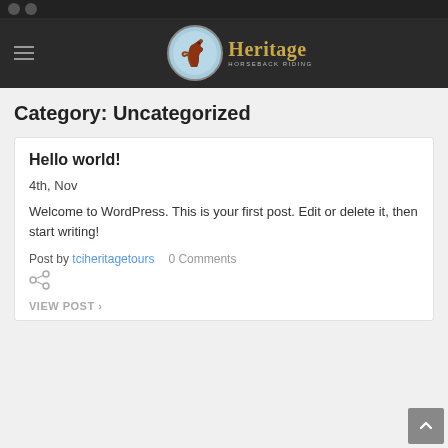Heritage Horseback Riding
Category: Uncategorized
Hello world!
4th, Nov
Welcome to WordPress. This is your first post. Edit or delete it, then start writing!
Post by tciheritagetours   0 Comments
VIEW POST >